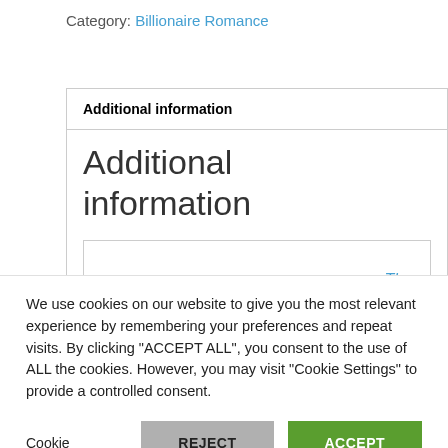Category: Billionaire Romance
| Additional information |
| --- |
| Additional information |
| The |
We use cookies on our website to give you the most relevant experience by remembering your preferences and repeat visits. By clicking “ACCEPT ALL”, you consent to the use of ALL the cookies. However, you may visit “Cookie Settings” to provide a controlled consent.
Cookie Settings
REJECT ALL
ACCEPT ALL